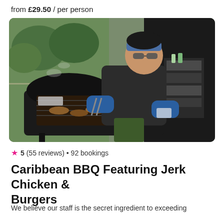from £29.50 / per person
[Figure (photo): A chef wearing a blue headband, sunglasses, and blue gloves cooking meat on a large outdoor BBQ grill. Trees and green grass visible in the background on the left. Stacked containers and supplies on the right.]
★ 5 (55 reviews) • 92 bookings
Caribbean BBQ Featuring Jerk Chicken & Burgers
We believe our staff is the secret ingredient to exceeding